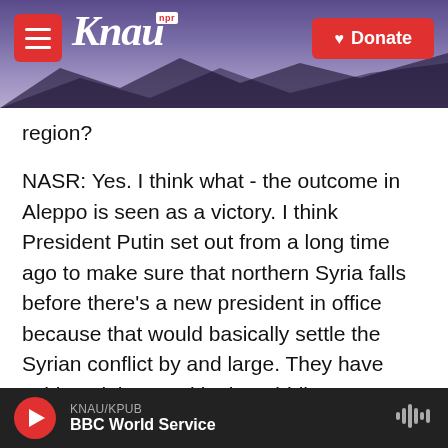KNAU NPR | Donate
region?
NASR: Yes. I think what - the outcome in Aleppo is seen as a victory. I think President Putin set out from a long time ago to make sure that northern Syria falls before there's a new president in office because that would basically settle the Syrian conflict by and large. They have achieved that. And in the Middle East, delivering on your strategic objectives constitutes power. And the winning of Aleppo is not just winning of Aleppo or winning of Syria. It really confirms Russia's ability to operate in the Middle East and reach its strategic objectives
KNAU/KPUB | BBC World Service